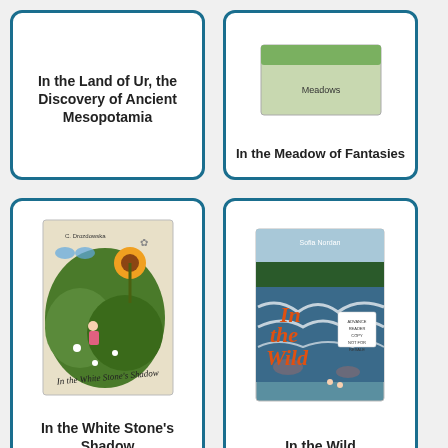[Figure (illustration): Book card for 'In the Land of Ur, the Discovery of Ancient Mesopotamia' - text only card with bold title]
In the Land of Ur, the Discovery of Ancient Mesopotamia
[Figure (illustration): Book card for 'In the Meadow of Fantasies' - partially visible]
In the Meadow of Fantasies
[Figure (illustration): Book card for 'In the White Stone's Shadow' with illustrated cover showing a girl in a garden with sunflower]
In the White Stone's Shadow
[Figure (illustration): Book card for 'In the Wild' with cover showing river rapids, by Sofia Nordin, Advance Reader Copy]
In the Wild
[Figure (illustration): Book card with red cover, 'Soon to Be a Major Motion Picture' text, green lizard illustration]
[Figure (illustration): Book card with dark blue cover, 'The Second Book in the Jablumi Trilogy' text]